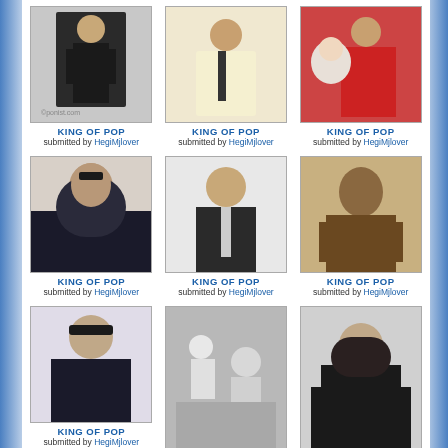[Figure (photo): Photo of person in black outfit, watermark visible]
KING OF POP
submitted by HegiMjlover
[Figure (photo): Photo of person in yellow/white jacket with tie]
KING OF POP
submitted by HegiMjlover
[Figure (photo): Photo of person in red holding a baby]
KING OF POP
submitted by HegiMjlover
[Figure (photo): Close-up photo of person with glasses and long hair]
KING OF POP
submitted by HegiMjlover
[Figure (photo): Photo of person in suit with tie, smiling]
KING OF POP
submitted by HegiMjlover
[Figure (photo): Brown-toned photo of person in jacket]
KING OF POP
submitted by HegiMjlover
[Figure (photo): Photo of person with glasses and long hair, white shirt]
KING OF POP
submitted by HegiMjlover
[Figure (photo): Black and white photo of people outdoors]
KING OF POP
submitted by HegiMjlover
[Figure (photo): Photo of person with horse, ornate jacket]
KING OF POP
submitted by HegiMjlover
[Figure (photo): Partial photo at bottom left]
[Figure (photo): Partial photo at bottom center]
[Figure (photo): Partial photo at bottom right]